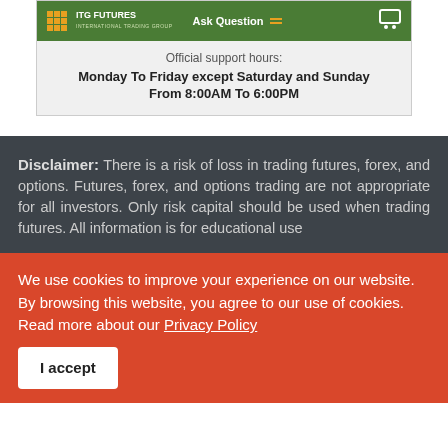[Figure (screenshot): ITG Futures International Trading Group green banner with logo, Ask Question button, and cart icon]
Official support hours:
Monday To Friday except Saturday and Sunday
From 8:00AM To 6:00PM
Disclaimer: There is a risk of loss in trading futures, forex, and options. Futures, forex, and options trading are not appropriate for all investors. Only risk capital should be used when trading futures. All information is for educational use
We use cookies to improve your experience on our website. By browsing this website, you agree to our use of cookies. Read more about our Privacy Policy
I accept